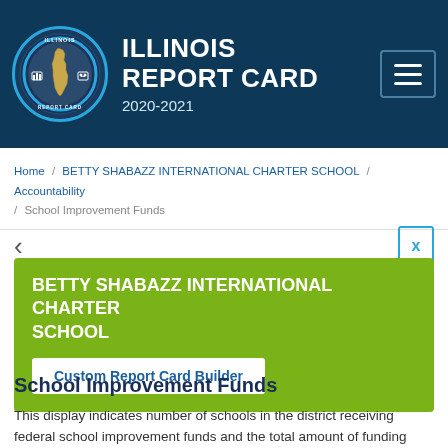ILLINOIS REPORT CARD 2020-2021
Home / BETTY SHABAZZ INTERNATIONAL CHARTER SCHOOL / Accountability / School Improvement Funds
BETTY SHABAZZ INTERNATIONAL CHARTER SCHOOL
Custom Report Card Builder
School Improvement Funds
This display indicates number of schools in the district receiving federal school improvement funds and the total amount of funding received by the district. Learn More ›